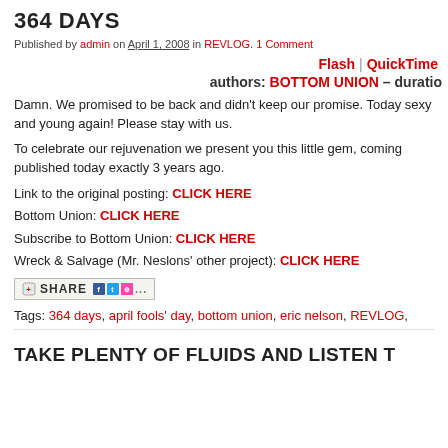364 DAYS
Published by admin on April 1, 2008 in REVLOG. 1 Comment
Flash | QuickTime
authors: BOTTOM UNION – duratio
Damn. We promised to be back and didn't keep our promise. Today sexy and young again! Please stay with us.
To celebrate our rejuvenation we present you this little gem, coming published today exactly 3 years ago.
Link to the original posting: CLICK HERE
Bottom Union: CLICK HERE
Subscribe to Bottom Union: CLICK HERE
Wreck & Salvage (Mr. Neslons' other project): CLICK HERE
[Figure (other): Share bookmark button with social sharing icons]
Tags: 364 days, april fools' day, bottom union, eric nelson, REVLOG,
TAKE PLENTY OF FLUIDS AND LISTEN T